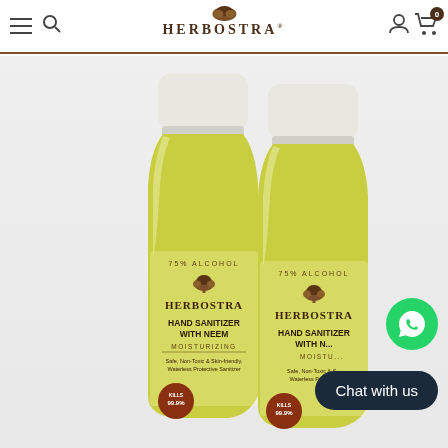HERBOSTRA (logo with tree icon) — navigation header with hamburger menu, search, user, and cart icons
[Figure (photo): Two bottles of Herbostra Hand Sanitizer with Neem (Moisturizing), 75% Alcohol. Yellow-green semi-transparent bottles with white caps. Labels read: 75% ALCOHOL, HERBOSTRA, HAND SANITIZER WITH NEEM, MOISTURIZING, Safe, Non-Toxic & Skin-friendly, Waterless Protective Sanitizer, KILLS 99.9%]
[Figure (logo): WhatsApp green circular button with white phone/chat icon, bottom right corner]
Chat with us